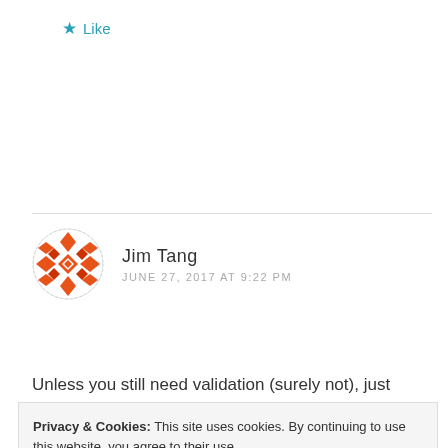★ Like
[Figure (other): Circular geometric avatar icon with orange/red diamond pattern for user Jim Tang]
Jim Tang
JUNE 27, 2017 AT 9:22 PM
Unless you still need validation (surely not), just being
Privacy & Cookies: This site uses cookies. By continuing to use this website, you agree to their use.
To find out more, including how to control cookies, see here: Cookie Policy
Close and accept